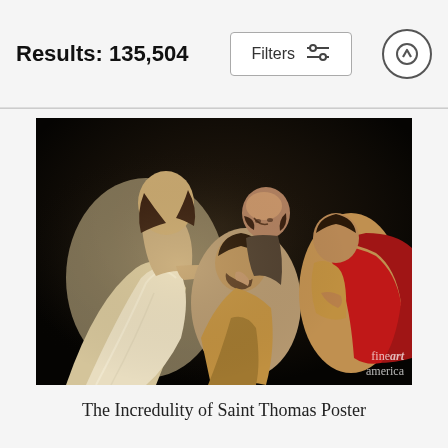Results: 135,504
[Figure (illustration): Filters button with sliders icon and up-arrow button in header bar]
[Figure (photo): Caravaggio's The Incredulity of Saint Thomas – a Baroque painting showing Jesus guiding Thomas's finger into his wound, with two other apostles looking on. A red garment visible at right. Fine Art America watermark in lower right.]
The Incredulity of Saint Thomas Poster